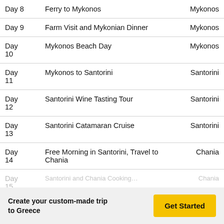| Day | Activity | Location |
| --- | --- | --- |
| Day 8 | Ferry to Mykonos | Mykonos |
| Day 9 | Farm Visit and Mykonian Dinner | Mykonos |
| Day 10 | Mykonos Beach Day | Mykonos |
| Day 11 | Mykonos to Santorini | Santorini |
| Day 12 | Santorini Wine Tasting Tour | Santorini |
| Day 13 | Santorini Catamaran Cruise | Santorini |
| Day 14 | Free Morning in Santorini, Travel to Chania | Chania |
| Day 15 | [partial, cut off] | Chania |
Create your custom-made trip to Greece
Get Started